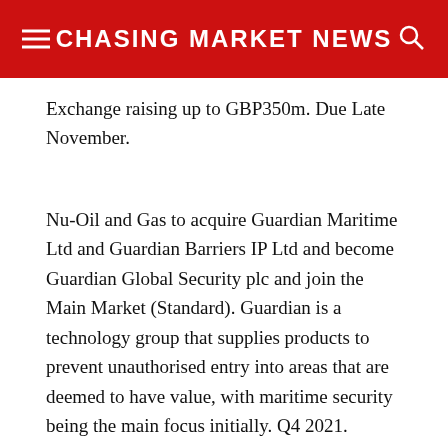CHASING MARKET NEWS
Exchange raising up to GBP350m. Due Late November.
Nu-Oil and Gas to acquire Guardian Maritime Ltd and Guardian Barriers IP Ltd and become Guardian Global Security plc and join the Main Market (Standard). Guardian is a technology group that supplies products to prevent unauthorised entry into areas that are deemed to have value, with maritime security being the main focus initially. Q4 2021.
M7 Regional E-Warehouse REIT intends to apply for admission onto The Property Stock Exchange (Wholesale